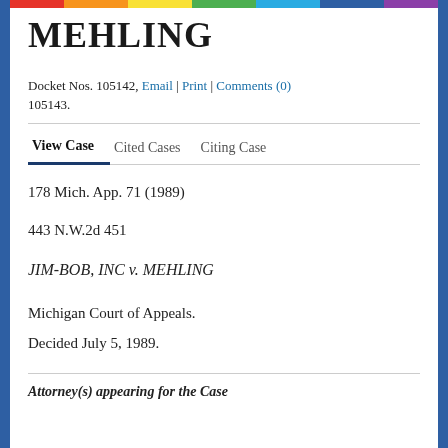MEHLING
Docket Nos. 105142, Email | Print | Comments (0) 105143.
View Case   Cited Cases   Citing Case
178 Mich. App. 71 (1989)
443 N.W.2d 451
JIM-BOB, INC v. MEHLING
Michigan Court of Appeals.
Decided July 5, 1989.
Attorney(s) appearing for the Case